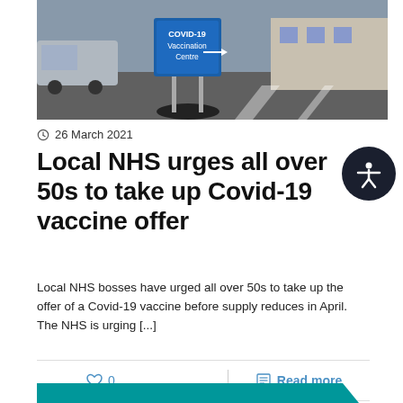[Figure (photo): A COVID-19 Vaccination Centre sign on a pavement/car park, with a blue A-frame sign in the foreground and a building in the background]
26 March 2021
Local NHS urges all over 50s to take up Covid-19 vaccine offer
Local NHS bosses have urged all over 50s to take up the offer of a Covid-19 vaccine before supply reduces in April. The NHS is urging [...]
0
Read more